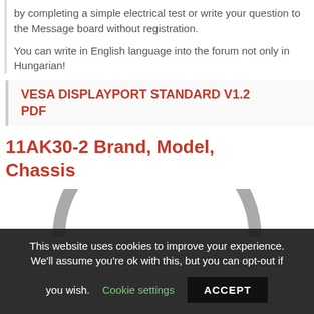by completing a simple electrical test or write your question to the Message board without registration.
You can write in English language into the forum not only in Hungarian!
VESA DISPLAYPORT STANDARD V1.2 PDF
11AK30-2 Brand, Model, Chassis
[Figure (illustration): Partial arc/circle graphic, gray color, partially visible at bottom of content area]
This website uses cookies to improve your experience. We'll assume you're ok with this, but you can opt-out if you wish. Cookie settings ACCEPT